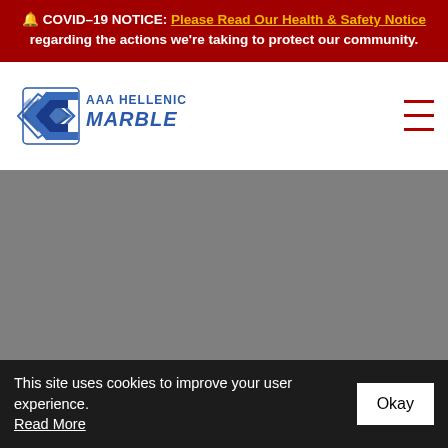🔔 COVID-19 NOTICE: Please Read Our Health & Safety Notice regarding the actions we're taking to protect our community.
[Figure (logo): AAA Hellenic Marble logo with blue chevron/arrow graphic and company name in blue text]
[Figure (photo): Large gray/placeholder image area — main website hero image]
This site uses cookies to improve your user experience. Read More  Okay